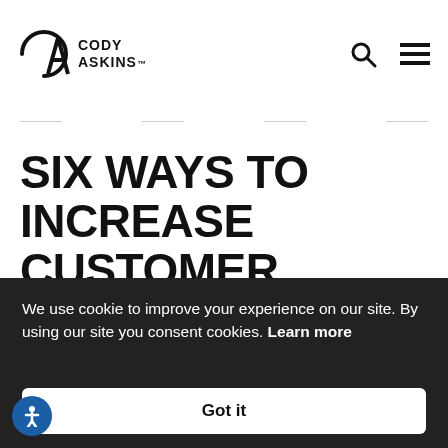CODY ASKINS
SIX WAYS TO INCREASE CUSTOMER RETENTION
[Figure (illustration): Featured image with two-panel design: left panel shows text 'SIX WAYS TO INCREASE CUSTOMER RETENTION' in spaced capital letters on white background with a horizontal underline; right panel shows an illustration of a hand holding a red magnet attracting colorful human figure icons on a light blue background.]
We use cookie to improve your experience on our site. By using our site you consent cookies. Learn more
Got it